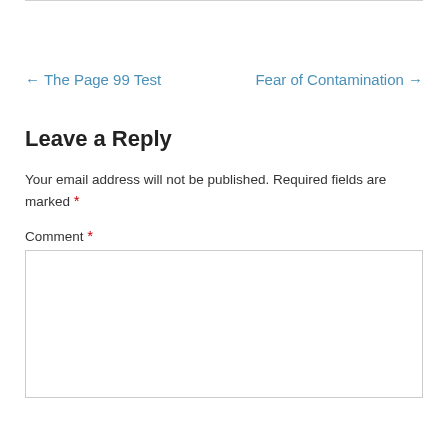← The Page 99 Test
Fear of Contamination →
Leave a Reply
Your email address will not be published. Required fields are marked *
Comment *